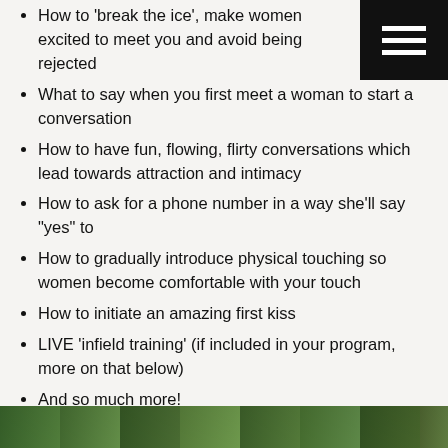How to ‘break the ice’, make women excited to meet you and avoid being rejected
What to say when you first meet a woman to start a conversation
How to have fun, flowing, flirty conversations which lead towards attraction and intimacy
How to ask for a phone number in a way she’ll say “yes” to
How to gradually introduce physical touching so women become comfortable with your touch
How to initiate an amazing first kiss
LIVE ‘infield training’ (if included in your program, more on that below)
And so much more!
[Figure (photo): A strip of outdoor/nature photos at the bottom of the page]